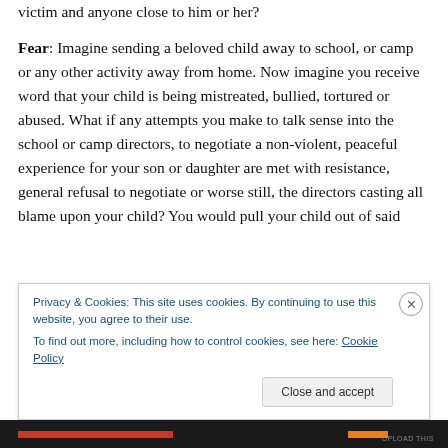victim and anyone close to him or her?
Fear: Imagine sending a beloved child away to school, or camp or any other activity away from home. Now imagine you receive word that your child is being mistreated, bullied, tortured or abused. What if any attempts you make to talk sense into the school or camp directors, to negotiate a non-violent, peaceful experience for your son or daughter are met with resistance, general refusal to negotiate or worse still, the directors casting all blame upon your child? You would pull your child out of said
Privacy & Cookies: This site uses cookies. By continuing to use this website, you agree to their use.
To find out more, including how to control cookies, see here: Cookie Policy
Close and accept